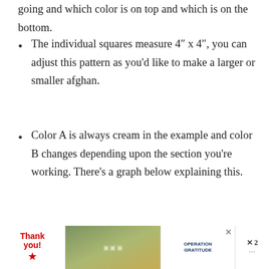going and which color is on top and which is on the bottom.
The individual squares measure 4" x 4", you can adjust this pattern as you'd like to make a larger or smaller afghan.
Color A is always cream in the example and color B changes depending upon the section you're working. There's a graph below explaining this.
In the photos: cream is Basic Stitch in Ecru (7 skeins, 24.5 oz/ 1295 yds), yellow is Basic Stitch in Mustard (2 skeins, 7 oz/ 370 yds), orange is Basic Stitch in Pumpkin (2 skeins, 7
[Figure (photo): Advertisement banner: Thank You with American flag star graphic on left, photo of people in medical masks holding items in center, Operation Gratitude logo on right, with X close button]